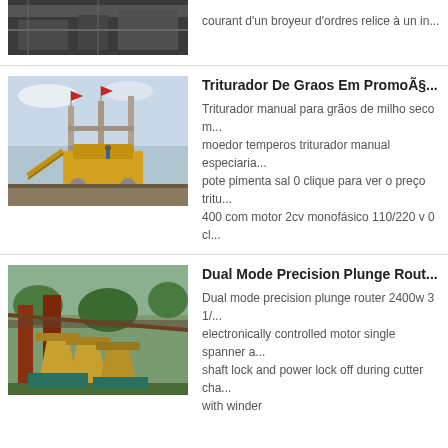[Figure (photo): Partial view of industrial machinery, dark metal components, top of page cropped]
courant d'un broyeur d'ordres relice à un in...
[Figure (photo): Construction site with yellow jaw crusher machinery, workers, red flags on scaffolding]
Triturador De Graos Em PromoÃ§...
Triturador manual para grãos de milho seco m... moedor temperos triturador manual especiaria... pote pimenta sal 0 clique para ver o preço tritu... 400 com motor 2cv monofásico 110/220 v 0 cl...
[Figure (photo): Industrial cone crushers and conveyor equipment at a mining or quarry site]
Dual Mode Precision Plunge Rout...
Dual mode precision plunge router 2400w 3 1/... electronically controlled motor single spanner a... shaft lock and power lock off during cutter cha... with winder